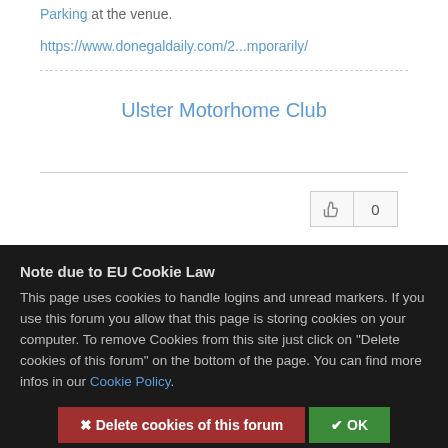Parking at the venue.
https://www.donegaldaily.com/2...mporarily/
Ulster Motorhome Club
0
Note due to EU Cookie Law
This page uses cookies to handle logins and unread markers. If you use this forum you allow that this page is storing cookies on your computer. To remove Cookies from this site just click on "Delete cookies of this forum" on the bottom of the page. You can find more infos in our Cookie Policy.
✖ Delete cookies of this forum
✔ OK